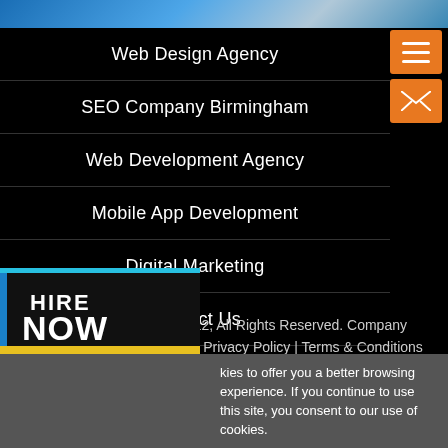[Figure (screenshot): Top blue image strip header]
[Figure (illustration): Orange hamburger menu button and orange mail/envelope button in top-right]
Web Design Agency
SEO Company Birmingham
Web Development Agency
Mobile App Development
Digital Marketing
Contact Us
© sdssoftwares.co.uk 2022, All Rights Reserved. Company Registration No. 08183306 | Privacy Policy | Terms & Conditions
[Figure (logo): HIRE NOW badge with blue and yellow accent borders]
kies to offer you a better browsing experience. If you continue to use this site, you consent to our use of cookies.
Accept   Privacy Policy   Terms & Conditions